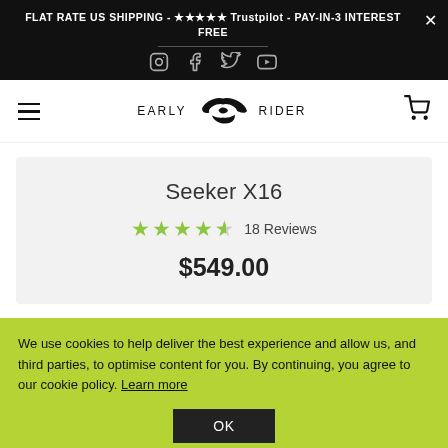FLAT RATE US SHIPPING - ★★★★★ Trustpilot - PAY-IN-3 INTEREST FREE
[Figure (logo): Social media icons: Instagram, Facebook, Twitter, YouTube]
[Figure (logo): Early Rider logo with stylized bird/wing wordmark]
Seeker X16
★★★★½ 18 Reviews
$549.00
We use cookies to help deliver the best experience and allow us, and third parties, to optimise content for you. By continuing, you agree to our cookie policy. Learn more